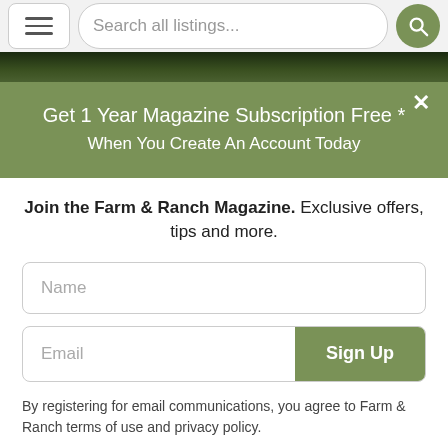[Figure (screenshot): Navigation bar with hamburger menu button, search bar labeled 'Search all listings...' and a green search icon button]
[Figure (photo): Dark forest/tree canopy image strip]
Get 1 Year Magazine Subscription Free *
When You Create An Account Today
Join the Farm & Ranch Magazine. Exclusive offers, tips and more.
Name
Email
Sign Up
By registering for email communications, you agree to Farm & Ranch terms of use and privacy policy.
* Applies to new magazine subscribers in the US only. To take advantage of this one-time offer, sign up today with farmandranch.com. The free magazine will be automatically...